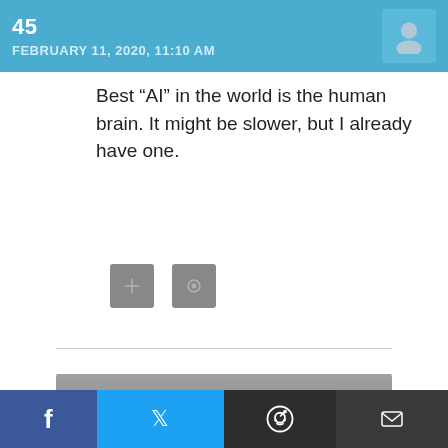FEBRUARY 11, 2020, 11:10 AM
Best “AI” in the world is the human brain. It might be slower, but I already have one.
[Figure (other): Two small gray icon buttons]
LEAVE A COMMENT
Name *
[Figure (other): Social share bar with Facebook, Twitter, Reddit, and Email icons]